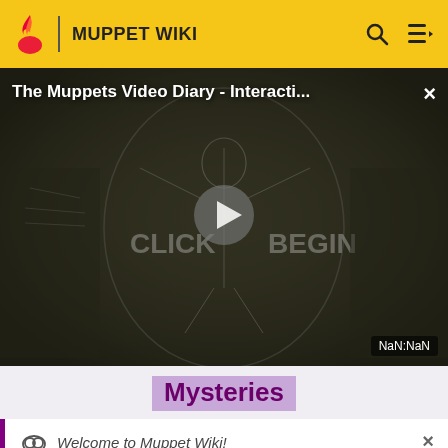MUPPET WIKI
[Figure (screenshot): Video player showing 'The Muppets Video Diary - Interacti...' with a sketch drawing of Kermit the Frog in a Vitruvian Man pose with text 'CLICK BEGIN', a play button in the center, and NaN:NaN timestamp badge]
Mysteries
Welcome to Muppet Wiki!
Please visit Special:Community to learn how you can contribute.